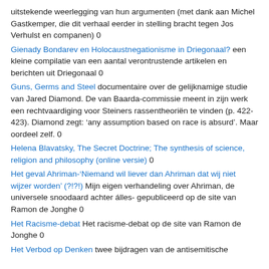uitstekende weerlegging van hun argumenten (met dank aan Michel Gastkemper, die dit verhaal eerder in stelling bracht tegen Jos Verhulst en companen) 0
Gienady Bondarev en Holocaustnegationisme in Driegonaal? een kleine compilatie van een aantal verontrustende artikelen en berichten uit Driegonaal 0
Guns, Germs and Steel documentaire over de gelijknamige studie van Jared Diamond. De van Baarda-commissie meent in zijn werk een rechtvaardiging voor Steiners rassentheoriën te vinden (p. 422-423). Diamond zegt: ‘any assumption based on race is absurd’. Maar oordeel zelf. 0
Helena Blavatsky, The Secret Doctrine; The synthesis of science, religion and philosophy (online versie) 0
Het geval Ahriman-‘Niemand wil liever dan Ahriman dat wij niet wijzer worden’ (?!?!) Mijn eigen verhandeling over Ahriman, de universele snoodaard achter álles- gepubliceerd op de site van Ramon de Jonghe 0
Het Racisme-debat Het racisme-debat op de site van Ramon de Jonghe 0
Het Verbod op Denken twee bijdragen van de antisemitische